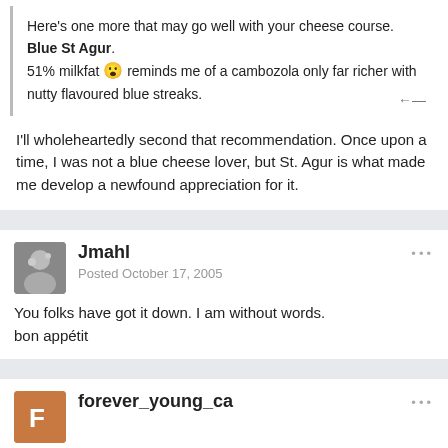Here's one more that may go well with your cheese course. Blue St Agur. 51% milkfat 😮 reminds me of a cambozola only far richer with nutty flavoured blue streaks.
I'll wholeheartedly second that recommendation. Once upon a time, I was not a blue cheese lover, but St. Agur is what made me develop a newfound appreciation for it.
Jmahl
Posted October 17, 2005
You folks have got it down. I am without words.
bon appétit
forever_young_ca